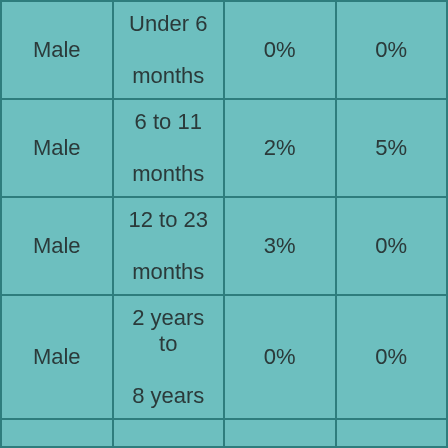| Male | Under 6 months | 0% | 0% |
| Male | 6 to 11 months | 2% | 5% |
| Male | 12 to 23 months | 3% | 0% |
| Male | 2 years to 8 years | 0% | 0% |
|  |  |  |  |